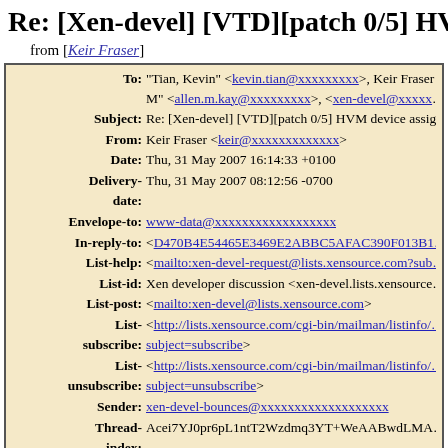Re: [Xen-devel] [VTD][patch 0/5] HVM de…
from [Keir Fraser]
| Field | Value |
| --- | --- |
| To: | "Tian, Kevin" <kevin.tian@xxxxxxxxx>, Keir Fraser… M" <allen.m.kay@xxxxxxxxx>, <xen-devel@xxxxx… |
| Subject: | Re: [Xen-devel] [VTD][patch 0/5] HVM device assig… |
| From: | Keir Fraser <keir@xxxxxxxxxxxxx> |
| Date: | Thu, 31 May 2007 16:14:33 +0100 |
| Delivery-date: | Thu, 31 May 2007 08:12:56 -0700 |
| Envelope-to: | www-data@xxxxxxxxxxxxxxxxxxx |
| In-reply-to: | <D470B4E54465E3469E2ABBC5AFAC390F013B1… |
| List-help: | <mailto:xen-devel-request@lists.xensource.com?sub… |
| List-id: | Xen developer discussion <xen-devel.lists.xensource… |
| List-post: | <mailto:xen-devel@lists.xensource.com> |
| List-subscribe: | <http://lists.xensource.com/cgi-bin/mailman/listinfo/… subject=subscribe> |
| List-unsubscribe: | <http://lists.xensource.com/cgi-bin/mailman/listinfo/… subject=unsubscribe> |
| Sender: | xen-devel-bounces@xxxxxxxxxxxxxxxxxxx |
| Thread-index: | Acei7YJ0pr6pL1ntT2Wzdmq3YT+WeAABwdLMA… |
| Thread- | [Xen-devel] [VTD][patch 0/5] HVM device assignm… |